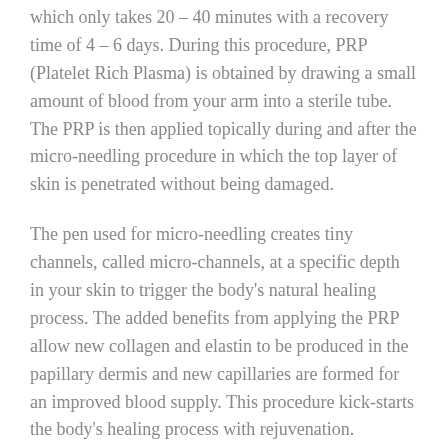which only takes 20 – 40 minutes with a recovery time of 4 – 6 days. During this procedure, PRP (Platelet Rich Plasma) is obtained by drawing a small amount of blood from your arm into a sterile tube. The PRP is then applied topically during and after the micro-needling procedure in which the top layer of skin is penetrated without being damaged.
The pen used for micro-needling creates tiny channels, called micro-channels, at a specific depth in your skin to trigger the body's natural healing process. The added benefits from applying the PRP allow new collagen and elastin to be produced in the papillary dermis and new capillaries are formed for an improved blood supply. This procedure kick-starts the body's healing process with rejuvenation.